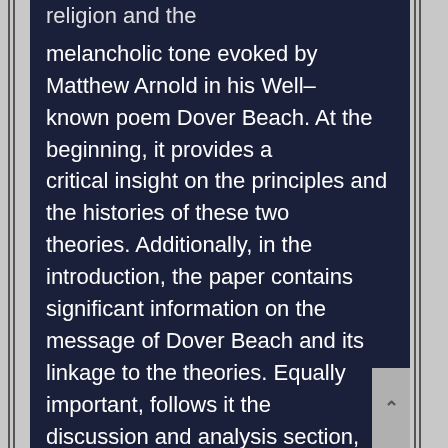religion and the melancholic tone evoked by Matthew Arnold in his Well-known poem Dover Beach. At the beginning, it provides a critical insight on the principles and the histories of these two theories. Additionally, in the introduction, the paper contains significant information on the message of Dover Beach and its linkage to the theories. Equally important, follows it the discussion and analysis section, which is probably the fundamental part of the research. Finally, a brief conclusion is provided at the end.